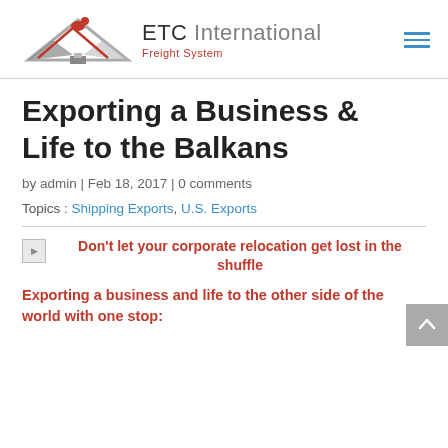[Figure (logo): ETC International Freight System logo with eagle/roof graphic in red and gray, company name in gray and dark text, tagline in red]
Exporting a Business & Life to the Balkans
by admin | Feb 18, 2017 | 0 comments
Topics : Shipping Exports, U.S. Exports
[Figure (illustration): Broken image placeholder icon followed by bold red promotional text: Don't let your corporate relocation get lost in the shuffle]
Exporting a business and life to the other side of the world with one stop: